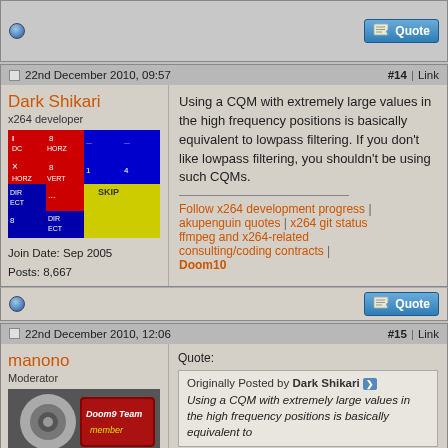[Figure (screenshot): Top stub post showing status dot and Quote button]
22nd December 2010, 09:57   #14 | Link
Dark Shikari
x264 developer
[Figure (illustration): Pixel art avatar showing video codec modes: I DC, HORZ, 8, x HORZ VERT, DIR ECT, SKIP, 8, DIR ECT colored blocks]
Join Date: Sep 2005
Posts: 8,667
Using a CQM with extremely large values in the high frequency positions is basically equivalent to lowpass filtering. If you don't like lowpass filtering, you shouldn't be using such CQMs.
Follow x264 development progress | akupenguin quotes | x264 git status ffmpeg and x264-related consulting/coding contracts | Doom10
22nd December 2010, 12:06   #15 | Link
manono
Moderator
[Figure (illustration): Doom9 Team member avatar badge]
Join Date: Oct 2001
Location: Hawaii
Posts: 7,407
Quote:
Originally Posted by Dark Shikari
Using a CQM with extremely large values in the high frequency positions is basically equivalent to